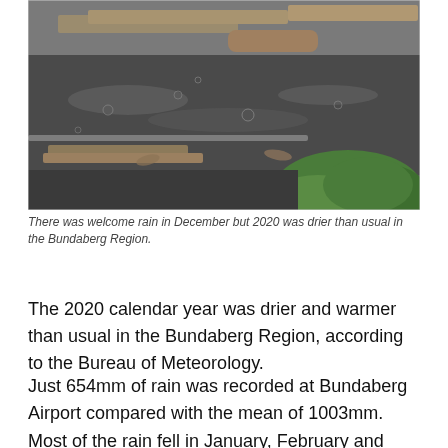[Figure (photo): A flooded outdoor area with water covering pavement, wooden planks floating or lying around, and green grass visible in the bottom right corner. Raindrops visible on the water surface.]
There was welcome rain in December but 2020 was drier than usual in the Bundaberg Region.
The 2020 calendar year was drier and warmer than usual in the Bundaberg Region, according to the Bureau of Meteorology.
Just 654mm of rain was recorded at Bundaberg Airport compared with the mean of 1003mm.
Most of the rain fell in January, February and December. The